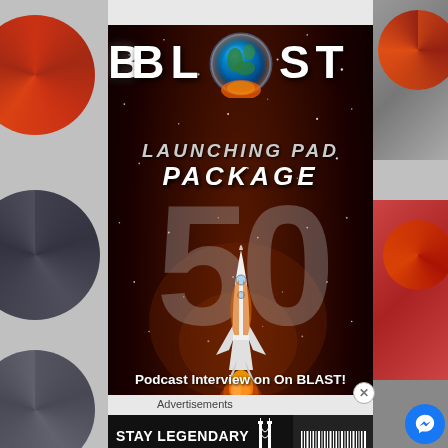[Figure (illustration): BLAST Launching Pad Package advertisement. Dark space background with stars, a globe image between the letters B and T of BLAST, large text reading BLAST, LAUNCHING PAD, PACKAGE, a large semi-transparent '50' in the background, a space shuttle launching upward, and bottom text: 'Podcast Interview on On BLAST!' and 'Featured Artist On BLAST's Website']
Advertisements
[Figure (illustration): Bottom banner advertisement: 'STAY LEGENDARY' in white bold text, 'SINCE 1906' in gold text, Golden Gate logo and barcode-style graphics, with 'BOOK NO' button partial text.]